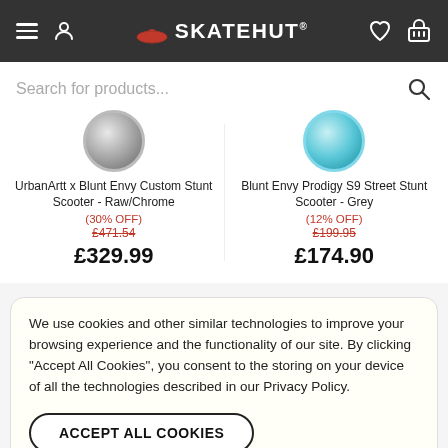SKATEHUT
Search for products...
UrbanArtt x Blunt Envy Custom Stunt Scooter - Raw/Chrome (30% OFF) £471.54 £329.99
Blunt Envy Prodigy S9 Street Stunt Scooter - Grey (12% OFF) £199.95 £174.90
We use cookies and other similar technologies to improve your browsing experience and the functionality of our site. By clicking "Accept All Cookies", you consent to the storing on your device of all the technologies described in our Privacy Policy.
ACCEPT ALL COOKIES